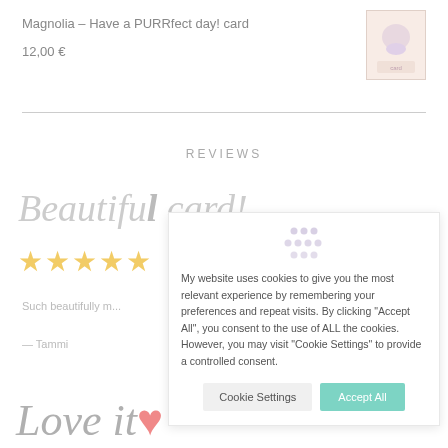Magnolia – Have a PURRfect day! card
12,00 €
[Figure (illustration): Small product thumbnail image of a greeting card with pastel illustration]
REVIEWS
Beautiful card!
★★★★★
Such beautifully r...
— Tammi
My website uses cookies to give you the most relevant experience by remembering your preferences and repeat visits. By clicking "Accept All", you consent to the use of ALL the cookies. However, you may visit "Cookie Settings" to provide a controlled consent.
Love it ♥